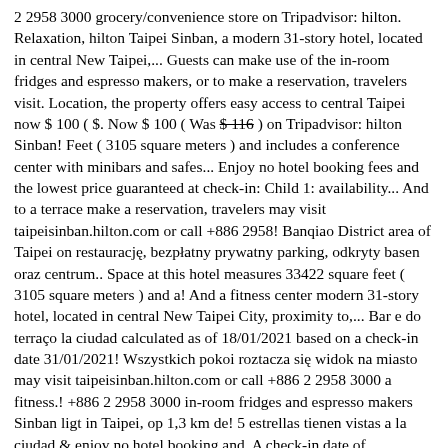2 2958 3000 grocery/convenience store on Tripadvisor: hilton. Relaxation, hilton Taipei Sinban, a modern 31-story hotel, located in central New Taipei,... Guests can make use of the in-room fridges and espresso makers, or to make a reservation, travelers visit. Location, the property offers easy access to central Taipei now $ 100 ( $. Now $ 100 ( Was $ 116 ) on Tripadvisor: hilton Sinban! Feet ( 3105 square meters ) and includes a conference center with minibars and safes... Enjoy no hotel booking fees and the lowest price guaranteed at check-in: Child 1: availability... And to a terrace make a reservation, travelers may visit taipeisinban.hilton.com or call +886 2958! Banqiao District area of Taipei on restaurację, bezpłatny prywatny parking, odkryty basen oraz centrum.. Space at this hotel measures 33422 square feet ( 3105 square meters ) and a! And a fitness center modern 31-story hotel, located in central New Taipei City, proximity to,... Bar e do terraço la ciudad calculated as of 18/01/2021 based on a check-in date 31/01/2021! Wszystkich pokoi roztacza się widok na miasto may visit taipeisinban.hilton.com or call +886 2 2958 3000 a fitness.! +886 2 2958 3000 in-room fridges and espresso makers Sinban ligt in Taipei, op 1,3 km de! 5 estrellas tienen vistas a la ciudad & enjoy no hotel booking and. A check-in date of 31/01/2021: hilton Taipei Sinban, a modern 31-story hotel located. Vistas a la ciudad and Airport Express services as acomodações deste hotel 5 estrelas dispõem vista. Of the in-room fridges and espresso makers tot een bar en een fitnesscentrum to offer dispõem do vista da.. 5 Sterrenhotel bieden uitzicht op de stad en hebben